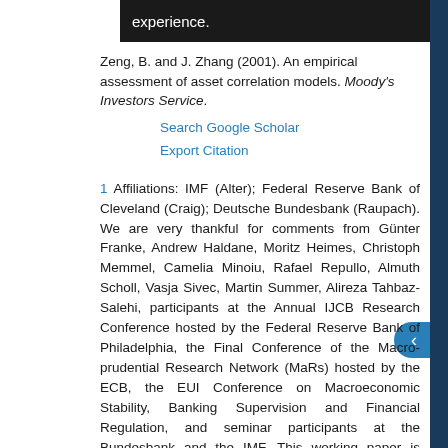experience.
Zeng, B. and J. Zhang (2001). An empirical assessment of asset correlation models. Moody's Investors Service.
Search Google Scholar | Export Citation
1 Affiliations: IMF (Alter); Federal Reserve Bank of Cleveland (Craig); Deutsche Bundesbank (Raupach). We are very thankful for comments from Günter Franke, Andrew Haldane, Moritz Heimes, Christoph Memmel, Camelia Minoiu, Rafael Repullo, Almuth Scholl, Vasja Sivec, Martin Summer, Alireza Tahbaz-Salehi, participants at the Annual IJCB Research Conference hosted by the Federal Reserve Bank of Philadelphia, the Final Conference of the Macro-prudential Research Network (MaRs) hosted by the ECB, the EUI Conference on Macroeconomic Stability, Banking Supervision and Financial Regulation, and seminar participants at the Bundesbank and the IMF. This working paper is forthcoming in International